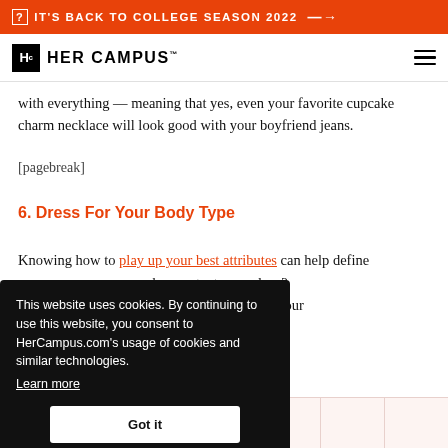IT'S BACK TO COLLEGE SEASON 2022 →
HER CAMPUS
with everything — meaning that yes, even your favorite cupcake charm necklace will look good with your boyfriend jeans.
[pagebreak]
6. Dress For Your Body Type
Knowing how to play up your best attributes can help define ... look accentuate your legs? ... en your frame? Flaunting your ... ing to putting together your
This website uses cookies. By continuing to use this website, you consent to HerCampus.com's usage of cookies and similar technologies. Learn more
Got it